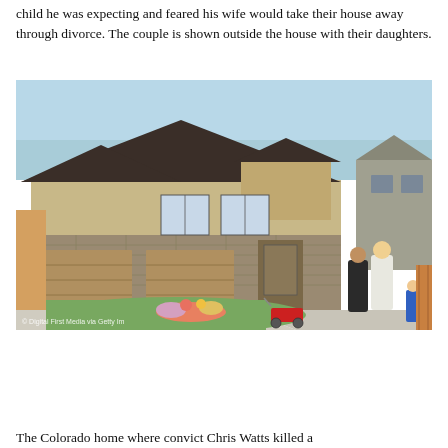child he was expecting and feared his wife would take their house away through divorce. The couple is shown outside the house with their daughters.
[Figure (photo): A two-story suburban house with dark brown siding, stone accents, and a three-car garage. Green lawn in front with flowers and stuffed animals left as a memorial. Several people including children and adults stand on the driveway. Neighboring houses visible on right side.]
© Digital First Media via Getty Im
The Colorado home where convict Chris Watts killed a